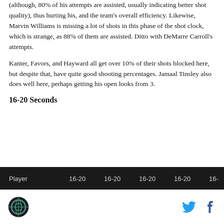(although, 80% of his attempts are assisted, usually indicating better shot quality), thus hurting his, and the team's overall efficiency. Likewise, Marvin Williams is missing a lot of shots in this phase of the shot clock, which is strange, as 88% of them are assisted. Ditto with DeMarre Carroll's attempts.
Kanter, Favors, and Hayward all get over 10% of their shots blocked here, but despite that, have quite good shooting percentages. Jamaal Tinsley also does well here, perhaps getting his open looks from 3.
16-20 Seconds
| Player | 16-20 | 16-20 | 16-20 | 16-20 | 16- |
| --- | --- | --- | --- | --- | --- |